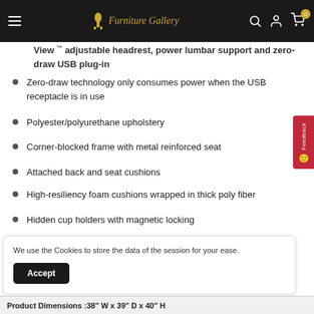Furniture Gallery
View adjustable headrest, power lumbar support and zero-draw USB plug-in
Zero-draw technology only consumes power when the USB receptacle is in use
Polyester/polyurethane upholstery
Corner-blocked frame with metal reinforced seat
Attached back and seat cushions
High-resiliency foam cushions wrapped in thick poly fiber
Hidden cup holders with magnetic locking
We use the Cookies to store the data of the session for your ease.
Product Dimensions :38" W x 39" D x 40" H